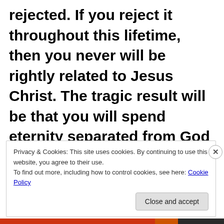rejected. If you reject it throughout this lifetime, then you never will be rightly related to Jesus Christ. The tragic result will be that you will spend eternity separated from God and Christ in the eternal lake of fire (Rev.20:11-15).
Privacy & Cookies: This site uses cookies. By continuing to use this website, you agree to their use.
To find out more, including how to control cookies, see here: Cookie Policy
Close and accept